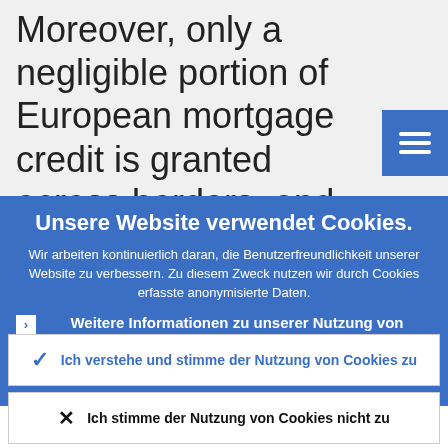Moreover, only a negligible portion of European mortgage credit is granted across borders, and the techniques for loan
Unsere Website verwendet Cookies.
Wir arbeiten kontinuierlich daran, die Benutzerfreundlichkeit unserer Website zu verbessern. Zu diesem Zweck nutzen wir durch Cookies erfasste anonymisierte Daten.
Weitere Informationen zu unserer Nutzung von Cookies
Ich verstehe und stimme der Nutzung von Cookies zu
Ich stimme der Nutzung von Cookies nicht zu